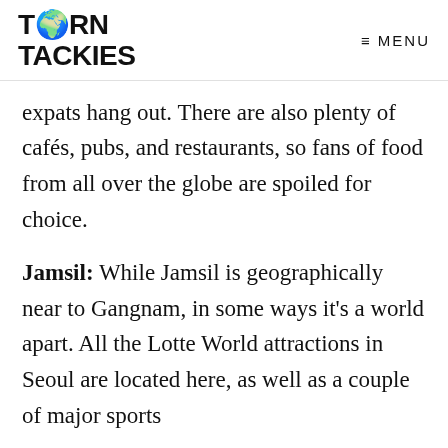TORN TACKIES  ≡ MENU
expats hang out. There are also plenty of cafés, pubs, and restaurants, so fans of food from all over the globe are spoiled for choice.
Jamsil: While Jamsil is geographically near to Gangnam, in some ways it's a world apart. All the Lotte World attractions in Seoul are located here, as well as a couple of major sports